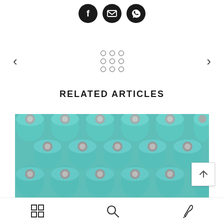[Figure (infographic): Three social share icons in dark circular buttons: Facebook, Email, WhatsApp]
[Figure (infographic): Navigation area with left chevron arrow, 3x3 grid of hollow circles (dots), and right chevron arrow]
RELATED ARTICLES
[Figure (photo): Close-up photo of multiple cylindrical teal/turquoise lithium-ion batteries viewed from the top, showing their positive terminals]
[Figure (infographic): Bottom toolbar with grid icon, search magnifier icon, and feather/write icon]